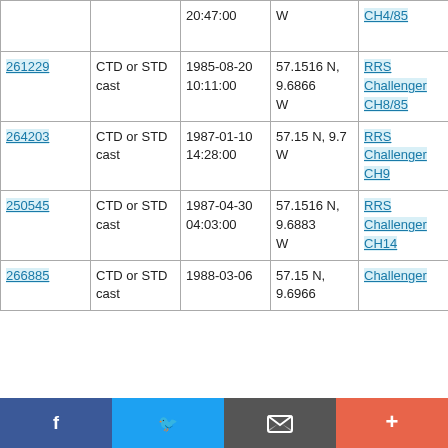| ID | Type | Date/Time | Location | Cruise |
| --- | --- | --- | --- | --- |
|  |  | 20:47:00 | W | CH4/85 |
| 261229 | CTD or STD cast | 1985-08-20 10:11:00 | 57.1516 N, 9.6866 W | RRS Challenger CH8/85 |
| 264203 | CTD or STD cast | 1987-01-10 14:28:00 | 57.15 N, 9.7 W | RRS Challenger CH9 |
| 250545 | CTD or STD cast | 1987-04-30 04:03:00 | 57.1516 N, 9.6883 W | RRS Challenger CH14 |
| 266885 | CTD or STD cast | 1988-03-06 | 57.15 N, 9.6966 | Challenger |
Social share bar: Facebook, Twitter, Email, +